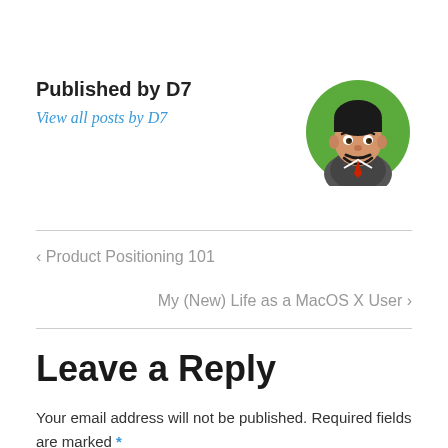Published by D7
View all posts by D7
[Figure (illustration): Circular avatar illustration of a man with dark hair and beard on a green background]
< Product Positioning 101
My (New) Life as a MacOS X User >
Leave a Reply
Your email address will not be published. Required fields are marked *